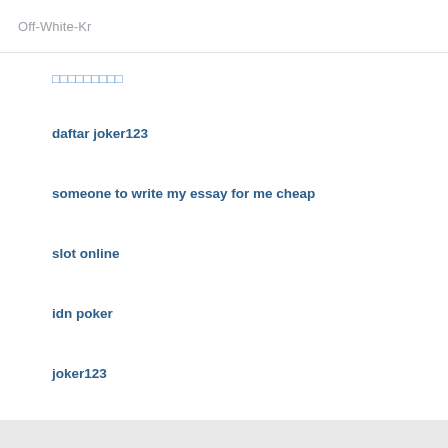Off-White-Kr
□□□□□□□□□
daftar joker123
someone to write my essay for me cheap
slot online
idn poker
joker123